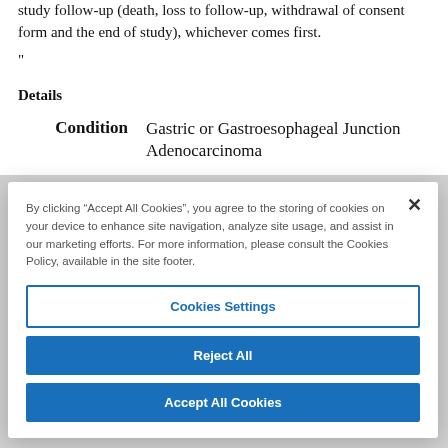study follow-up (death, loss to follow-up, withdrawal of consent form and the end of study), whichever comes first.
"
Details
Condition   Gastric or Gastroesophageal Junction Adenocarcinoma
By clicking “Accept All Cookies”, you agree to the storing of cookies on your device to enhance site navigation, analyze site usage, and assist in our marketing efforts. For more information, please consult the Cookies Policy, available in the site footer.
Cookies Settings
Reject All
Accept All Cookies